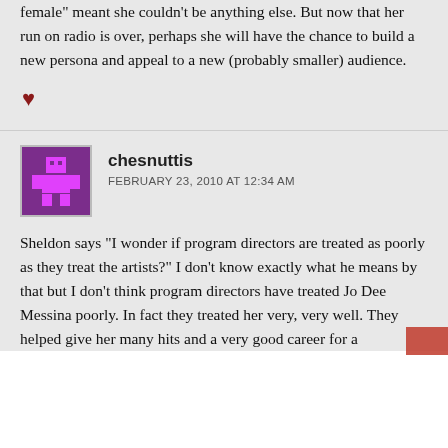female” meant she couldn’t be anything else. But now that her run on radio is over, perhaps she will have the chance to build a new persona and appeal to a new (probably smaller) audience.
♥
chesnuttis
FEBRUARY 23, 2010 AT 12:34 AM
Sheldon says “I wonder if program directors are treated as poorly as they treat the artists?” I don’t know exactly what he means by that but I don’t think program directors have treated Jo Dee Messina poorly. In fact they treated her very, very well. They helped give her many hits and a very good career for a